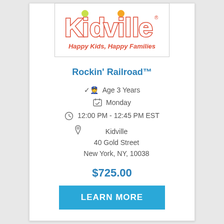[Figure (logo): Kidville logo with colorful letters and tagline 'Happy Kids, Happy Families']
Rockin' Railroad™
Age 3 Years
Monday
12:00 PM - 12:45 PM EST
Kidville
40 Gold Street
New York, NY, 10038
$725.00
LEARN MORE